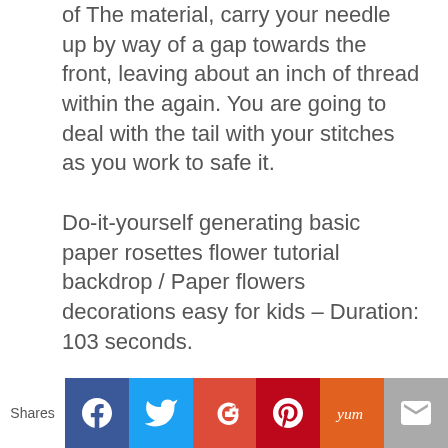of The material, carry your needle up by way of a gap towards the front, leaving about an inch of thread within the again. You are going to deal with the tail with your stitches as you work to safe it.
Do-it-yourself generating basic paper rosettes flower tutorial backdrop / Paper flowers decorations easy for kids – Duration: 103 seconds.
A cousin into the backstitch, the stemstitch creates a ropelike influence. Insert needle from Incorrect to correct facet, popping out at one. Decide on a pattern. Cross stitching is so simple as matching the grid on the pattern of choice to the grid in the
Shares | f | t | G+ | p | yum | mail